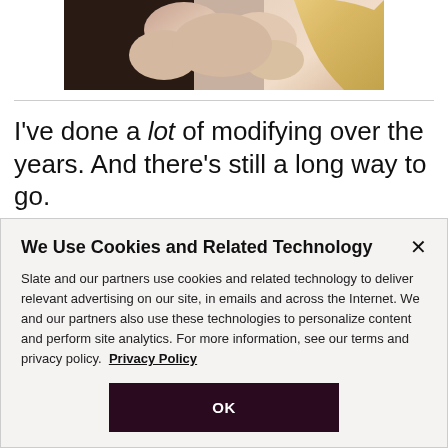[Figure (photo): Partial photo showing two people's hands and upper body area, person on left in dark clothing, person on right with blonde hair]
I've done a lot of modifying over the years. And there's still a long way to go.
We Use Cookies and Related Technology
Slate and our partners use cookies and related technology to deliver relevant advertising on our site, in emails and across the Internet. We and our partners also use these technologies to personalize content and perform site analytics. For more information, see our terms and privacy policy.  Privacy Policy
OK